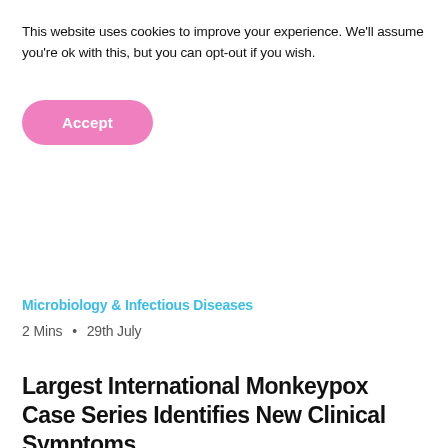This website uses cookies to improve your experience. We'll assume you're ok with this, but you can opt-out if you wish.
Accept
Microbiology & Infectious Diseases
2 Mins • 29th July
Largest International Monkeypox Case Series Identifies New Clinical Symptoms